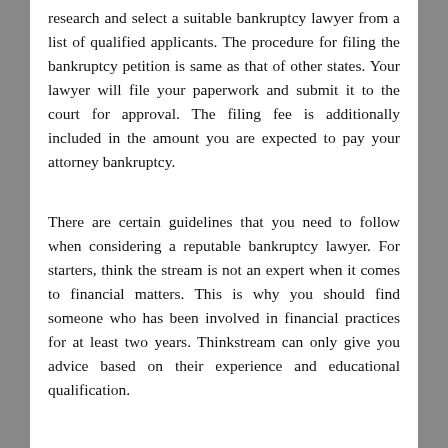research and select a suitable bankruptcy lawyer from a list of qualified applicants. The procedure for filing the bankruptcy petition is same as that of other states. Your lawyer will file your paperwork and submit it to the court for approval. The filing fee is additionally included in the amount you are expected to pay your attorney bankruptcy.
There are certain guidelines that you need to follow when considering a reputable bankruptcy lawyer. For starters, think the stream is not an expert when it comes to financial matters. This is why you should find someone who has been involved in financial practices for at least two years. Thinkstream can only give you advice based on their experience and educational qualification.